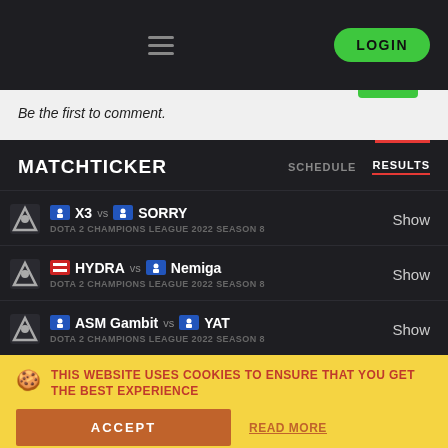LOGIN
Be the first to comment.
MATCHTICKER
SCHEDULE   RESULTS
X3 vs SORRY | DOTA 2 CHAMPIONS LEAGUE 2022 SEASON 8 | Show
HYDRA vs Nemiga | DOTA 2 CHAMPIONS LEAGUE 2022 SEASON 8 | Show
ASM Gambit vs YAT | DOTA 2 CHAMPIONS LEAGUE 2022 SEASON 8 | Show
THIS WEBSITE USES COOKIES TO ENSURE THAT YOU GET THE BEST EXPERIENCE
ACCEPT
READ MORE